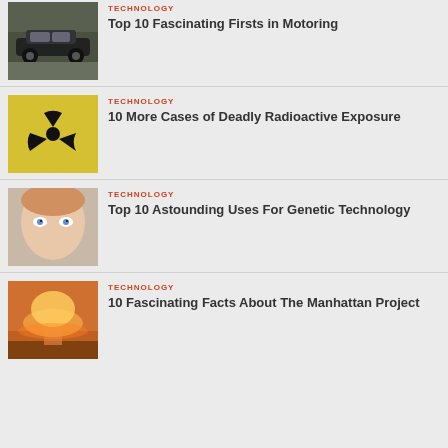[Figure (photo): Classic black muscle car on road]
TECHNOLOGY
Top 10 Fascinating Firsts in Motoring
[Figure (photo): Yellow and black radioactive warning symbol]
TECHNOLOGY
10 More Cases of Deadly Radioactive Exposure
[Figure (photo): Close-up of child face with blue eyes]
TECHNOLOGY
Top 10 Astounding Uses For Genetic Technology
[Figure (photo): Nuclear explosion mushroom cloud]
TECHNOLOGY
10 Fascinating Facts About The Manhattan Project